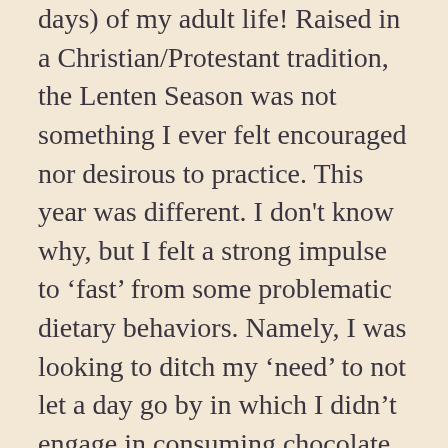days) of my adult life! Raised in a Christian/Protestant tradition, the Lenten Season was not something I ever felt encouraged nor desirous to practice. This year was different. I don't know why, but I felt a strong impulse to 'fast' from some problematic dietary behaviors. Namely, I was looking to ditch my 'need' to not let a day go by in which I didn't engage in consuming chocolate or nuts in one form or another. To say that I was anxious about being able to go cold turkey